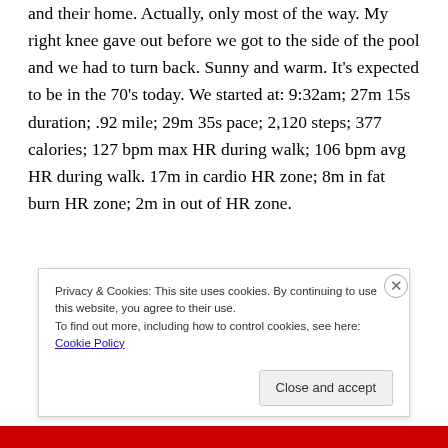and their home. Actually, only most of the way. My right knee gave out before we got to the side of the pool and we had to turn back. Sunny and warm. It's expected to be in the 70's today. We started at: 9:32am; 27m 15s duration; .92 mile; 29m 35s pace; 2,120 steps; 377 calories; 127 bpm max HR during walk; 106 bpm avg HR during walk. 17m in cardio HR zone; 8m in fat burn HR zone; 2m in out of HR zone.
Privacy & Cookies: This site uses cookies. By continuing to use this website, you agree to their use.
To find out more, including how to control cookies, see here: Cookie Policy
Close and accept